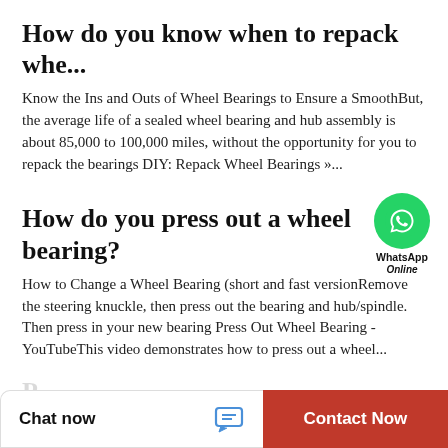How do you know when to repack whe...
Know the Ins and Outs of Wheel Bearings to Ensure a SmoothBut, the average life of a sealed wheel bearing and hub assembly is about 85,000 to 100,000 miles, without the opportunity for you to repack the bearings DIY: Repack Wheel Bearings »...
How do you press out a wheel bearing?
[Figure (logo): WhatsApp green circle icon with phone handset, labeled WhatsApp Online]
How to Change a Wheel Bearing (short and fast versionRemove the steering knuckle, then press out the bearing and hub/spindle. Then press in your new bearing Press Out Wheel Bearing - YouTubeThis video demonstrates how to press out a wheel...
Chat now | Contact Now